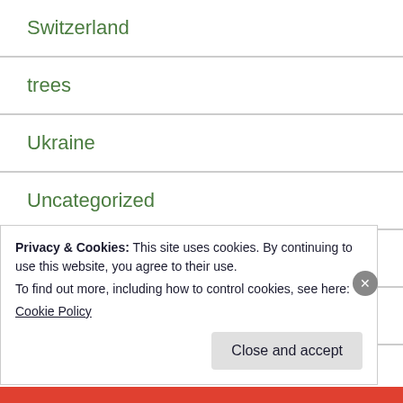Switzerland
trees
Ukraine
Uncategorized
Vegetables
Wales
Weeds
Privacy & Cookies: This site uses cookies. By continuing to use this website, you agree to their use.
To find out more, including how to control cookies, see here:
Cookie Policy